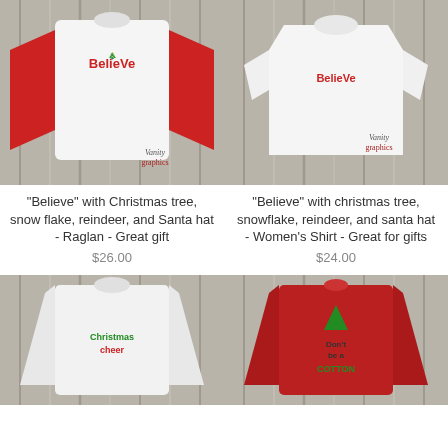[Figure (photo): Red raglan baseball shirt with 'Believe' Christmas graphic on white wood background]
[Figure (photo): White women's short-sleeve shirt with 'Believe' Christmas graphic on white wood background]
"Believe" with Christmas tree, snow flake, reindeer, and Santa hat - Raglan - Great gift
"Believe" with christmas tree, snowflake, reindeer, and santa hat - Women's Shirt - Great for gifts
$26.00
$24.00
[Figure (photo): White long-sleeve shirt with elf Christmas cheer graphic on white wood background]
[Figure (photo): Red long-sleeve shirt with 'Don't be a Cotton' elf graphic on white wood background]